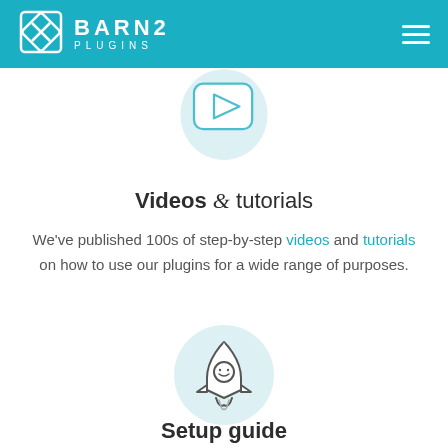BARN2 PLUGINS
[Figure (illustration): Light blue oval background with a rounded rectangle video play button icon (triangle/play symbol inside)]
Videos & tutorials
We've published 100s of step-by-step videos and tutorials on how to use our plugins for a wide range of purposes.
[Figure (illustration): Light blue circle background with a rocket ship icon (smiling face, flames at bottom)]
Setup guide